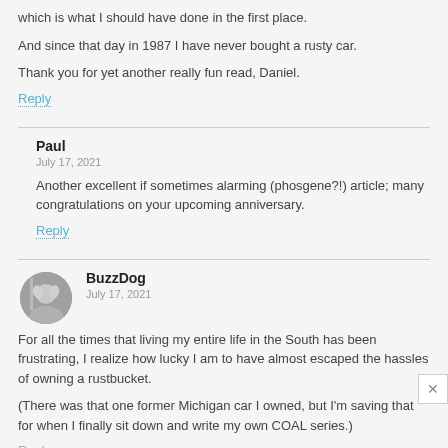which is what I should have done in the first place.
And since that day in 1987 I have never bought a rusty car.
Thank you for yet another really fun read, Daniel.
Reply
Paul
July 17, 2021
Another excellent if sometimes alarming (phosgene?!) article; many congratulations on your upcoming anniversary.
Reply
BuzzDog
July 17, 2021
For all the times that living my entire life in the South has been frustrating, I realize how lucky I am to have almost escaped the hassles of owning a rustbucket.
(There was that one former Michigan car I owned, but I'm saving that for when I finally sit down and write my own COAL series.)
Reply